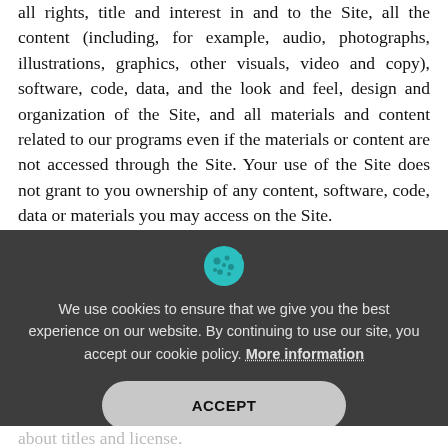all rights, title and interest in and to the Site, all the content (including, for example, audio, photographs, illustrations, graphics, other visuals, video and copy), software, code, data, and the look and feel, design and organization of the Site, and all materials and content related to our programs even if the materials or content are not accessed through the Site. Your use of the Site does not grant to you ownership of any content, software, code, data or materials you may access on the Site.
[Figure (screenshot): Cookie consent overlay with cookie icon, message about cookie policy, 'More information' link, and an ACCEPT button on a dark grey background.]
about titles and license.